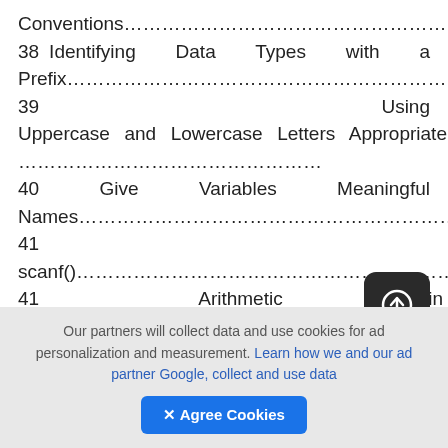Conventions....... 38
Identifying Data Types with a Prefix....... 39
Using Uppercase and Lowercase Letters Appropriately....... 40
Give Variables Meaningful Names....... 41
scanf()....... 41
Arithmetic in C....... 43
Operator Precedence....... 45
Chapter Program-Wiz....... 46
Summary....... 47
Our partners will collect data and use cookies for ad personalization and measurement. Learn how we and our ad partner Google, collect and use data
✕ Agree Cookies